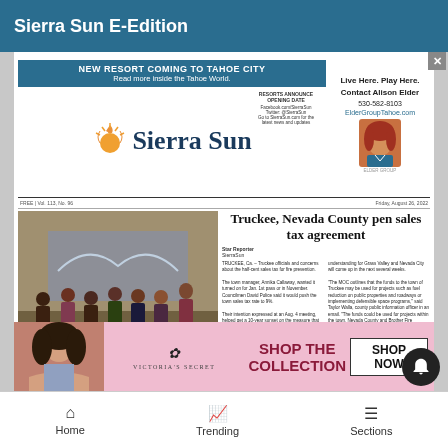Sierra Sun E-Edition
[Figure (screenshot): Sierra Sun newspaper front page showing new resort coming to Tahoe City banner, Sierra Sun masthead, and main article about Truckee Nevada County pen sales tax agreement]
Local students and Arts for The Schools CEO Eva McEneaney (far right) pose after completing work on a mural at the Community Arts Center.
Truckee, Nevada County pen sales tax agreement
TRUCKEE, Ca. - Truckee officials and concerns about the half-cent sales tax for fire prevention. The town manager, Annika Callaway, wanted it turned on for Jan. 1st pass or in November. Coun-cilmen David Police said it would push the town sales tax rate to 9%.
understanding for Grass Valley and Nevada City will come up in the next several weeks.
"The MOC outlines that the funds to the town of Truckee may be used for projects such as fuel reduction on public properties and roadways or implementing defensible space programs," said Taylor Walla, county public information officer in an email.
[Figure (photo): Victoria's Secret SHOP THE COLLECTION advertisement with woman model]
Home   Trending   Sections